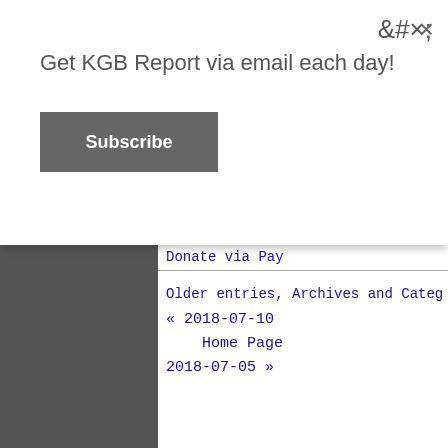×
Get KGB Report via email each day!
Subscribe
Donate via Pay
Older entries, Archives and Categ
« 2018-07-10
Home Page
2018-07-05 »